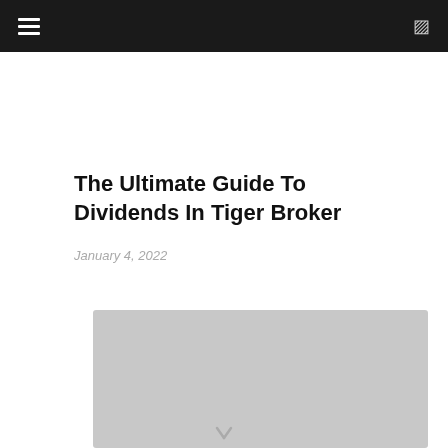navigation bar with hamburger menu and search icon
The Ultimate Guide To Dividends In Tiger Broker
January 4, 2022
[Figure (screenshot): Video player placeholder showing 'No compatible source was found for this media.' with a circular X error icon and close button]